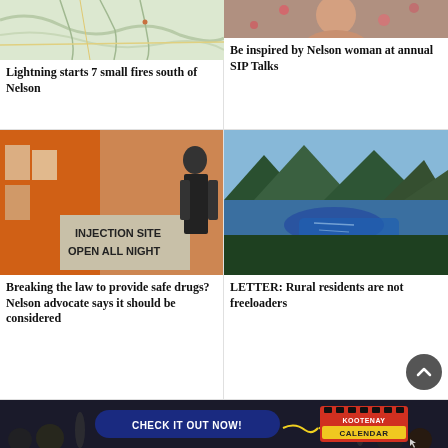[Figure (photo): Topographic map showing area south of Nelson]
Lightning starts 7 small fires south of Nelson
[Figure (photo): Portrait of a Nelson woman, floral clothing]
Be inspired by Nelson woman at annual SIP Talks
[Figure (photo): Person standing near a sign reading INJECTION SITE OPEN ALL NIGHT with orange backdrop]
Breaking the law to provide safe drugs? Nelson advocate says it should be considered
[Figure (photo): Aerial photo of a river valley with mountains and forest]
LETTER: Rural residents are not freeloaders
[Figure (infographic): Advertisement banner: CHECK IT OUT NOW! Kootenay Calendar]